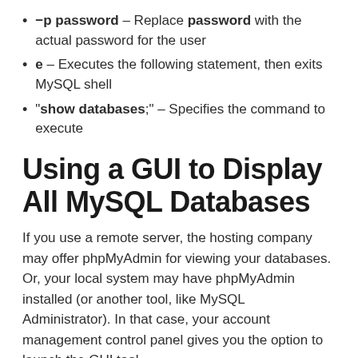–p password – Replace password with the actual password for the user
e – Executes the following statement, then exits MySQL shell
"show databases;" – Specifies the command to execute
Using a GUI to Display All MySQL Databases
If you use a remote server, the hosting company may offer phpMyAdmin for viewing your databases. Or, your local system may have phpMyAdmin installed (or another tool, like MySQL Administrator). In that case, your account management control panel gives you the option to launch the GUI tool.